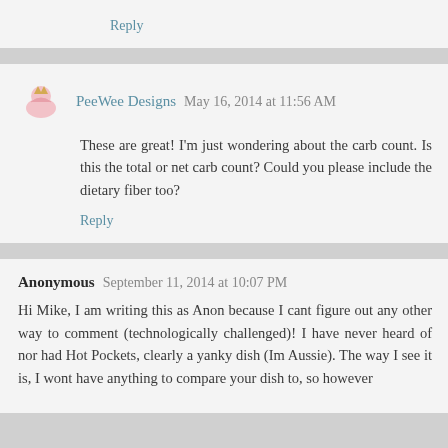Reply
PeeWee Designs May 16, 2014 at 11:56 AM
These are great! I'm just wondering about the carb count. Is this the total or net carb count? Could you please include the dietary fiber too?
Reply
Anonymous September 11, 2014 at 10:07 PM
Hi Mike, I am writing this as Anon because I cant figure out any other way to comment (technologically challenged)! I have never heard of nor had Hot Pockets, clearly a yanky dish (Im Aussie). The way I see it is, I wont have anything to compare your dish to, so however